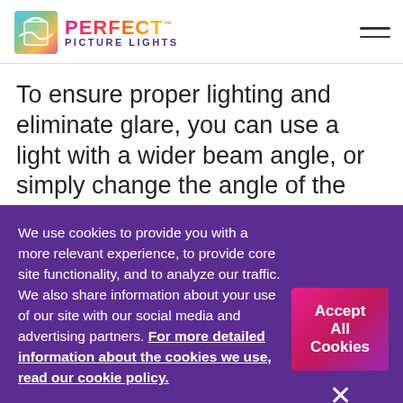[Figure (logo): Perfect Picture Lights logo with colorful shopping bag icon and gradient text]
To ensure proper lighting and eliminate glare, you can use a light with a wider beam angle, or simply change the angle of the
We use cookies to provide you with a more relevant experience, to provide core site functionality, and to analyze our traffic. We also share information about your use of our site with our social media and advertising partners. For more detailed information about the cookies we use, read our cookie policy.